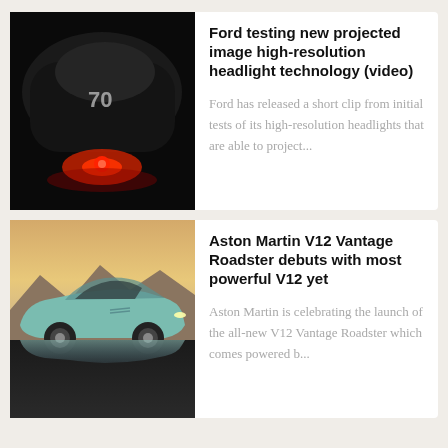[Figure (photo): Dark nighttime image of a car with high-resolution headlights projecting a glowing pattern, with a red light visible at the bottom center]
Ford testing new projected image high-resolution headlight technology (video)
Ford has released a short clip from initial tests of its high-resolution headlights that are able to project...
[Figure (photo): Aston Martin V12 Vantage Roadster in light blue/teal color on a reflective surface with mountains in the background at sunset]
Aston Martin V12 Vantage Roadster debuts with most powerful V12 yet
Aston Martin is celebrating the launch of the all-new V12 Vantage Roadster which comes powered b...